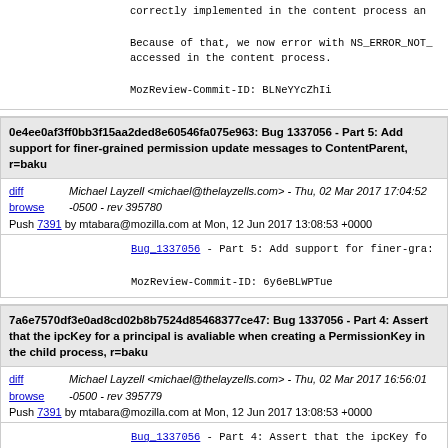correctly implemented in the content process an...

Because of that, we now error with NS_ERROR_NOT_... accessed in the content process.

MozReview-Commit-ID: BLNeYYcZhIi
0e4ee0af3ff0bb3f15aa2ded8e60546fa075e963: Bug 1337056 - Part 5: Add support for finer-grained permission update messages to ContentParent, r=baku
Michael Layzell <michael@thelayzells.com> - Thu, 02 Mar 2017 17:04:52 -0500 - rev 395780
Push 7391 by mtabara@mozilla.com at Mon, 12 Jun 2017 13:08:53 +0000
Bug_1337056 - Part 5: Add support for finer-gra...

MozReview-Commit-ID: 6y6eBLWPTue
7a6e7570df3e0ad8cd02b8b7524d85468377ce47: Bug 1337056 - Part 4: Assert that the ipcKey for a principal is avaliable when creating a PermissionKey in the child process, r=baku
Michael Layzell <michael@thelayzells.com> - Thu, 02 Mar 2017 16:56:01 -0500 - rev 395779
Push 7391 by mtabara@mozilla.com at Mon, 12 Jun 2017 13:08:53 +0000
Bug_1337056 - Part 4: Assert that the ipcKey fo...

MozReview-Commit-ID: G9TynCKgCVF